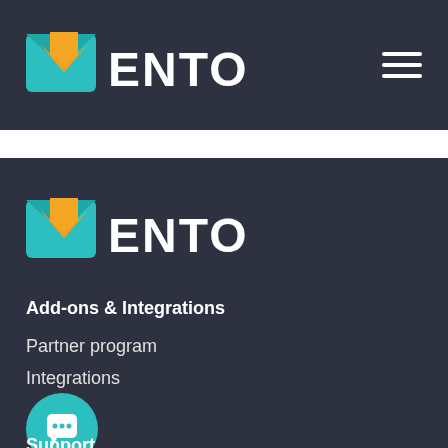[Figure (logo): ENTO logo in navigation bar - teal envelope with orange arrow and white ENTO text]
[Figure (logo): ENTO logo in footer section - teal envelope with orange arrow and white ENTO text]
Add-ons & Integrations
Partner program
Integrations
Support